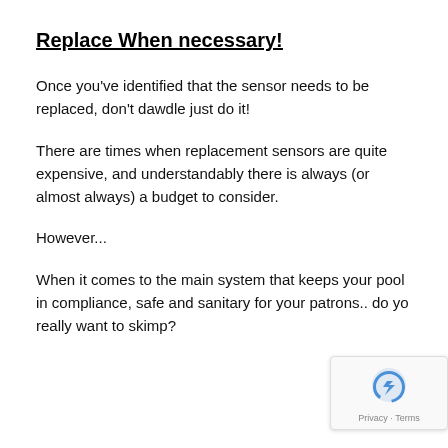Replace When necessary!
Once you've identified that the sensor needs to be replaced, don't dawdle just do it!
There are times when replacement sensors are quite expensive, and understandably there is always (or almost always) a budget to consider.
However...
When it comes to the main system that keeps your pool in compliance, safe and sanitary for your patrons.. do you really want to skimp?